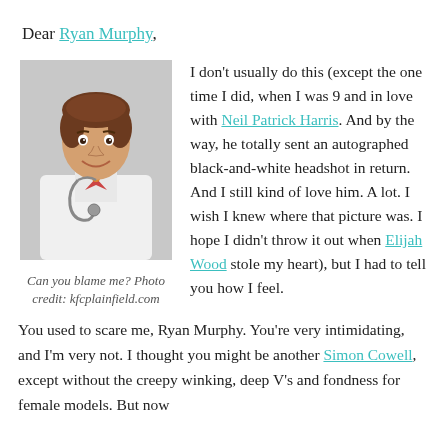Dear Ryan Murphy,
[Figure (photo): Young boy (Neil Patrick Harris as Doogie Howser) in a white doctor's coat with a stethoscope, smiling at the camera. Black and white style photo.]
Can you blame me? Photo credit: kfcplainfield.com
I don't usually do this (except the one time I did, when I was 9 and in love with Neil Patrick Harris. And by the way, he totally sent an autographed black-and-white headshot in return. And I still kind of love him. A lot. I wish I knew where that picture was. I hope I didn't throw it out when Elijah Wood stole my heart), but I had to tell you how I feel.
You used to scare me, Ryan Murphy. You're very intimidating, and I'm very not. I thought you might be another Simon Cowell, except without the creepy winking, deep V's and fondness for female models. But now